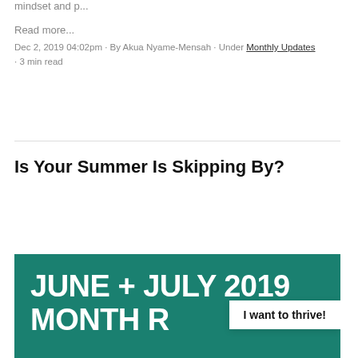mindset and p...
Read more...
Dec 2, 2019 04:02pm · By Akua Nyame-Mensah · Under Monthly Updates · 3 min read
Is Your Summer Is Skipping By?
[Figure (illustration): Teal/green background image with large white bold text reading 'JUNE + JULY 2019 MONTH REVIEW' partially visible, and a white popup badge reading 'I want to thrive!']